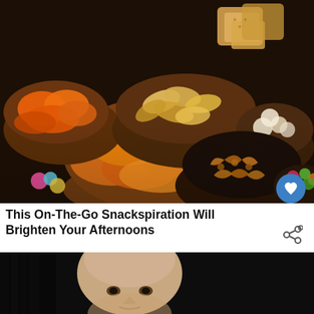[Figure (photo): Overhead view of multiple wooden and dark bowls filled with assorted snacks including chips, pretzels, crackers, popcorn, nuts, and gummy candies on a dark surface]
This On-The-Go Snackspiration Will Brighten Your Afternoons
[Figure (photo): Close-up photo of a bald man's face, partially visible, with a dark background. In the lower right corner is a 'What's Next' overlay showing a circular avatar thumbnail and text: WHAT'S NEXT → SEE HOW GABRIELLE...]